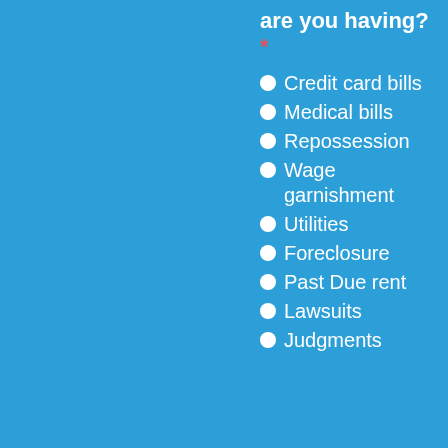are you having? *
Credit card bills
Medical bills
Repossession
Wage garnishment
Utilities
Foreclosure
Past Due rent
Lawsuits
Judgments